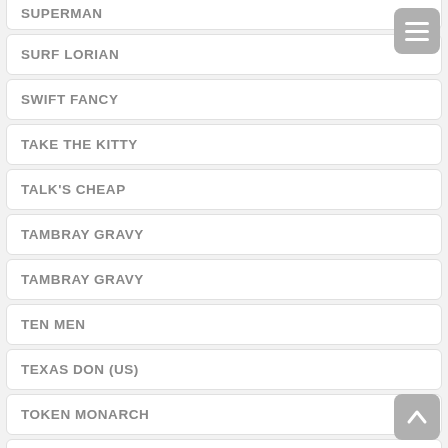SUPERMAN
SURF LORIAN
SWIFT FANCY
TAKE THE KITTY
TALK'S CHEAP
TAMBRAY GRAVY
TAMBRAY GRAVY
TEN MEN
TEXAS DON (US)
TOKEN MONARCH
TOKEN PRINCE